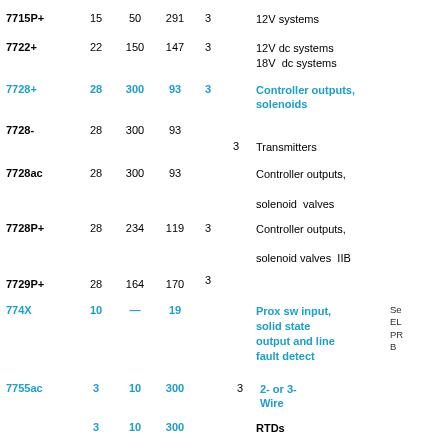| Model | V | mA | mW | Cat | Cat2 | Application | Notes |
| --- | --- | --- | --- | --- | --- | --- | --- |
| 7715P+ | 15 | 50 | 291 | 3 |  | 12V systems |  |
| 7722+ | 22 | 150 | 147 | 3 |  | 12V dc systems
18V  dc systems |  |
| 7728+ | 28 | 300 | 93 | 3 |  | Controller outputs, solenoids |  |
| 7728- | 28 | 300 | 93 |  | 3 | Transmitters |  |
| 7728ac | 28 | 300 | 93 |  |  | Controller outputs, solenoid valves |  |
| 7728P+ | 28 | 234 | 119 | 3 |  | Controller outputs, solenoid valves IIB |  |
| 7729P+ | 28 | 164 | 170 |  | 3 |  |  |
| 774X | 10 | — | 19 |  |  | Prox sw input, solid state output and line fault detect | Se
EL
PR
B |
| 7755ac | 3 | 10 | 300 |  | 3 | 2- or 3-Wire RTDs |  |
|  | 3 | 10 | 300 |  |  | RTDs |  |